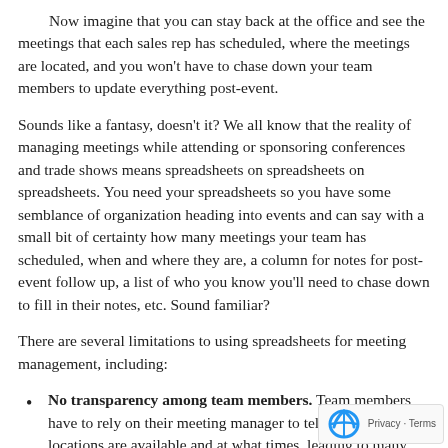Now imagine that you can stay back at the office and see the meetings that each sales rep has scheduled, where the meetings are located, and you won't have to chase down your team members to update everything post-event.
Sounds like a fantasy, doesn't it? We all know that the reality of managing meetings while attending or sponsoring conferences and trade shows means spreadsheets on spreadsheets on spreadsheets. You need your spreadsheets so you have some semblance of organization heading into events and can say with a small bit of certainty how many meetings your team has scheduled, when and where they are, a column for notes for post-event follow up, a list of who you know you'll need to chase down to fill in their notes, etc. Sound familiar?
There are several limitations to using spreadsheets for meeting management, including:
No transparency among team members. Team members have to rely on their meeting manager to tell them what locations are available and at what times, leading to many questions that could be